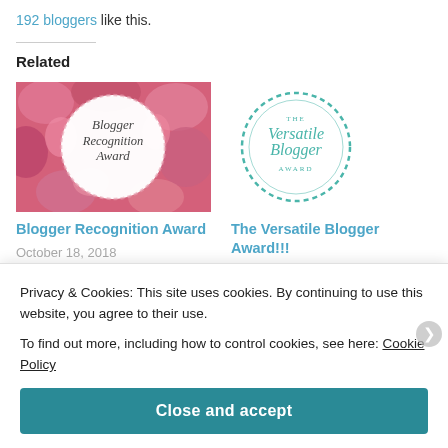192 bloggers like this.
Related
[Figure (photo): Blogger Recognition Award badge — pink flowers background with white circular badge reading 'Blogger Recognition Award']
Blogger Recognition Award
October 18, 2018
In
"#blogger#recognition
[Figure (logo): The Versatile Blogger Award circular teal logo]
The Versatile Blogger Award!!!
October 23, 2018
In
"#versatile#blogger#aw
Privacy & Cookies: This site uses cookies. By continuing to use this website, you agree to their use.
To find out more, including how to control cookies, see here: Cookie Policy
Close and accept